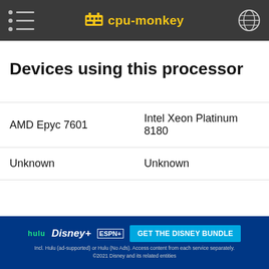cpu-monkey
Devices using this processor
|  |  |
| --- | --- |
| AMD Epyc 7601 | Intel Xeon Platinum 8180 |
| Unknown | Unknown |
Leaderboards
In our le... the best processors for specific categories for you. The
[Figure (screenshot): Advertisement banner for Disney Bundle featuring Hulu, Disney+, ESPN+ logos and 'GET THE DISNEY BUNDLE' call to action button]